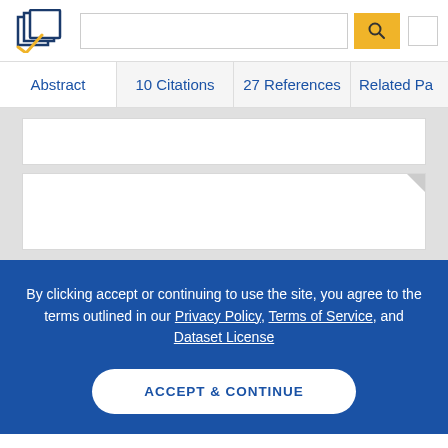[Figure (logo): Semantic Scholar logo - stylized book pages icon in dark blue and gold checkmark]
Abstract | 10 Citations | 27 References | Related Pa...
[Figure (screenshot): Two white paper preview cards on grey background]
By clicking accept or continuing to use the site, you agree to the terms outlined in our Privacy Policy, Terms of Service, and Dataset License
ACCEPT & CONTINUE